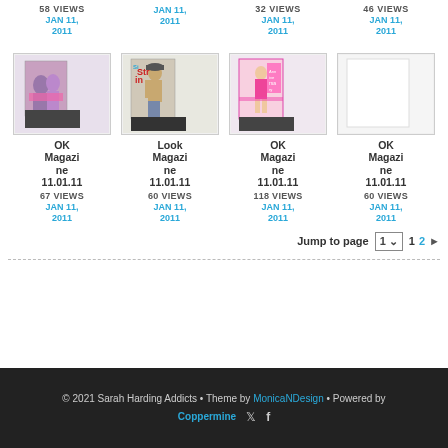58 VIEWS JAN 11, 2011
JAN 11, 2011
32 VIEWS JAN 11, 2011
46 VIEWS JAN 11, 2011
[Figure (photo): Magazine cover thumbnail - OK Magazine couple photo]
OK Magazine 11.01.11
67 VIEWS
JAN 11, 2011
[Figure (photo): Magazine cover thumbnail - Look Magazine shirtless man photo]
Look Magazine 11.01.11
60 VIEWS
JAN 11, 2011
[Figure (photo): Magazine cover thumbnail - OK Magazine pink layout photo]
OK Magazine 11.01.11
118 VIEWS
JAN 11, 2011
[Figure (photo): Magazine cover thumbnail - OK Magazine blank/white]
OK Magazine 11.01.11
60 VIEWS
JAN 11, 2011
Jump to page 1 2 ▶
© 2021 Sarah Harding Addicts • Theme by MonicaNDesign • Powered by Coppermine